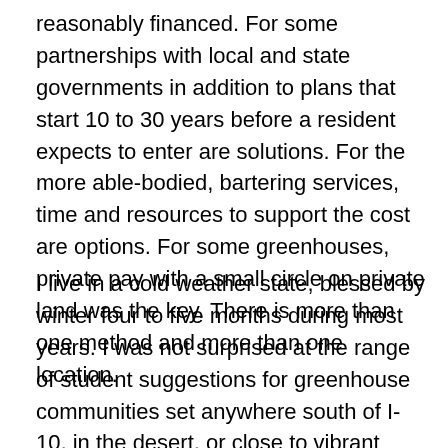reasonably financed.  For some partnerships with local and state governments in addition to plans that start 10 to 30 years before a resident expects to enter are solutions.  For the more able-bodied, bartering services, time and resources to support the cost are options.  For some greenhouses, private pay with a small circle on private land was the key.  There is more than one method and more than one location.
I live in a cold weather state, blessed by winter four to five months during most years. I was not surprised at the range of student suggestions for greenhouse communities set anywhere south of I-10, in the desert, or close to vibrant locations that cater to retirees, such as Ithaca, NY.  Other potential locations could be close to educational communities, good quality and inexpensive medical facilities, and other family...